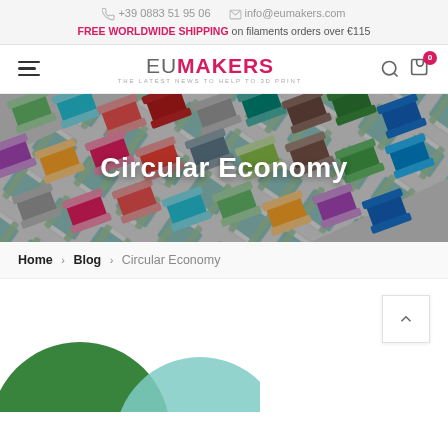+39 0883 51 95 06   info@eumakers.com
FREE WORLDWIDE SHIPPING on filaments orders over €115
[Figure (logo): EUMAKERS logo — EU in grey, MAKERS in dark red/magenta, with tagline below]
Circular Economy
Home > Blog > Circular Economy
[Figure (illustration): Partial decorative green and teal circle shapes visible at bottom of page]